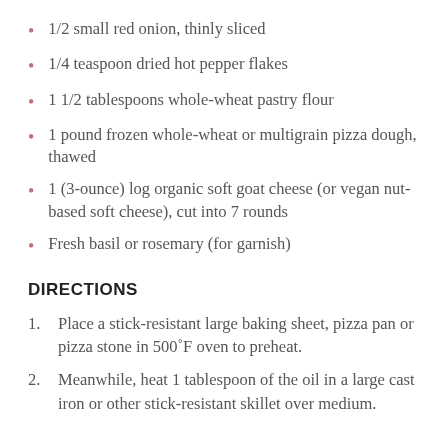1/2 small red onion, thinly sliced
1/4 teaspoon dried hot pepper flakes
1 1/2 tablespoons whole-wheat pastry flour
1 pound frozen whole-wheat or multigrain pizza dough, thawed
1 (3-ounce) log organic soft goat cheese (or vegan nut-based soft cheese), cut into 7 rounds
Fresh basil or rosemary (for garnish)
DIRECTIONS
Place a stick-resistant large baking sheet, pizza pan or pizza stone in 500˚F oven to preheat.
Meanwhile, heat 1 tablespoon of the oil in a large cast iron or other stick-resistant skillet over medium.